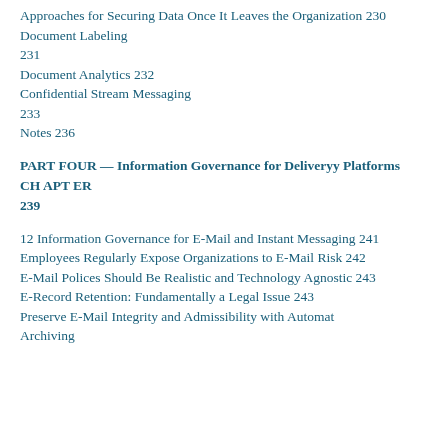Approaches for Securing Data Once It Leaves the Organization 230
Document Labeling 231
Document Analytics 232
Confidential Stream Messaging 233
Notes 236
PART FOUR — Information Governance for Deliveryy Platforms CHAPTER 239
12 Information Governance for E-Mail and Instant Messaging 241
Employees Regularly Expose Organizations to E-Mail Risk 242
E-Mail Polices Should Be Realistic and Technology Agnostic 243
E-Record Retention: Fundamentally a Legal Issue 243
Preserve E-Mail Integrity and Admissibility with Automatic Archiving